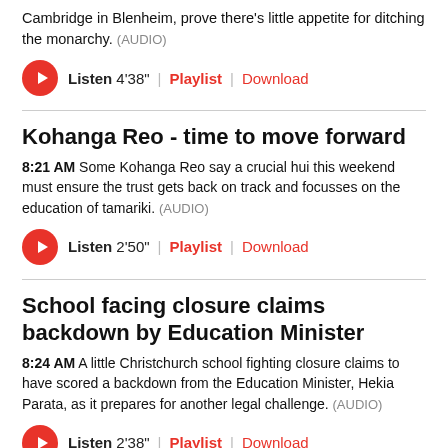Cambridge in Blenheim, prove there's little appetite for ditching the monarchy. (AUDIO)
Listen 4'38" | Playlist | Download
Kohanga Reo - time to move forward
8:21 AM Some Kohanga Reo say a crucial hui this weekend must ensure the trust gets back on track and focusses on the education of tamariki. (AUDIO)
Listen 2'50" | Playlist | Download
School facing closure claims backdown by Education Minister
8:24 AM A little Christchurch school fighting closure claims to have scored a backdown from the Education Minister, Hekia Parata, as it prepares for another legal challenge. (AUDIO)
Listen 2'38" | Playlist | Download